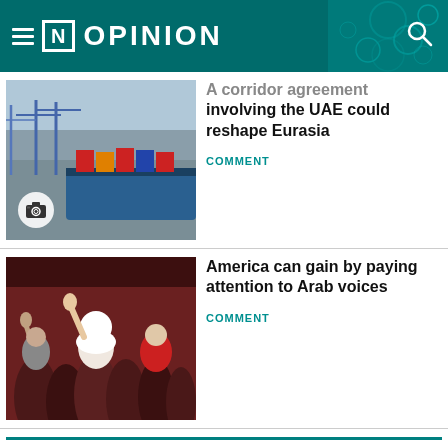[N] OPINION
[Figure (photo): Aerial view of a container port with large cargo ship and cranes]
A corridor agreement involving the UAE could reshape Eurasia
COMMENT
[Figure (photo): Crowd of people raising their hands in an indoor setting; woman in hijab prominent in center]
America can gain by paying attention to Arab voices
COMMENT
COMMENT
[Figure (photo): Partial thumbnail visible at bottom of page]